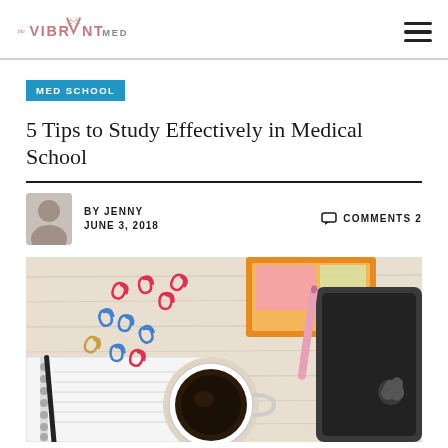The Vibrant Med — navigation header with logo and hamburger menu
MED SCHOOL
5 Tips to Study Effectively in Medical School
BY JENNY  JUNE 3, 2018  COMMENTS 2
[Figure (photo): Flat lay photo of a wooden desk with colorful paper clips (red, blue, gold), a spiral notebook, a pen, a cup of black coffee, an orange-framed board, and a dark Apple tablet device with a pink stylus.]